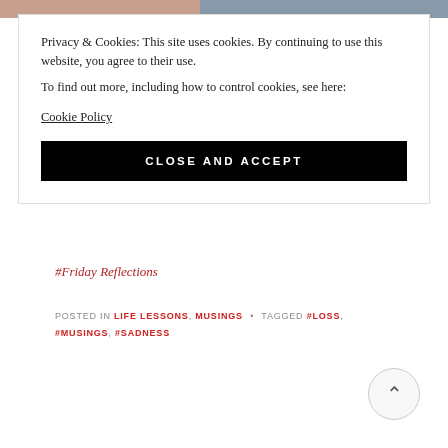[Figure (photo): Top image strip showing two partial photos — left is warm-toned, right is cool-toned]
Privacy & Cookies: This site uses cookies. By continuing to use this website, you agree to their use.
To find out more, including how to control cookies, see here:
Cookie Policy
CLOSE AND ACCEPT
#Friday Reflections
POSTED IN LIFE LESSONS, MUSINGS • TAGGED #LOSS, #MUSINGS, #SADNESS